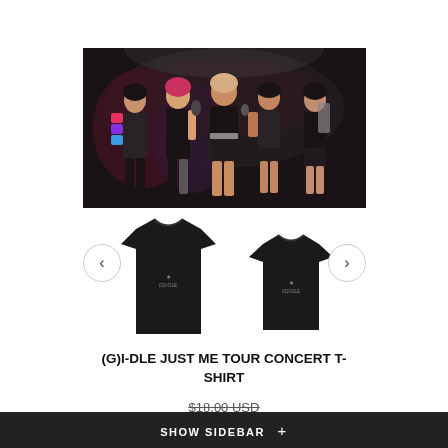[Figure (photo): Group concert photo of (G)I-DLE members performing on stage in black outfits with colorful lighting]
[Figure (photo): Two black (G)I-DLE JUST ME TOUR CONCERT T-SHIRTs displayed side by side, with left/right navigation arrows]
(G)I-DLE JUST ME TOUR CONCERT T-SHIRT
$18.00 USD
SHOW SIDEBAR +